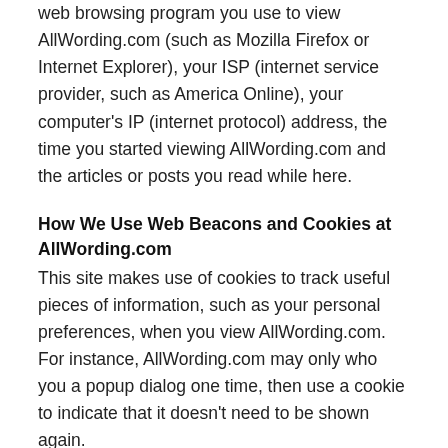web browsing program you use to view AllWording.com (such as Mozilla Firefox or Internet Explorer), your ISP (internet service provider, such as America Online), your computer's IP (internet protocol) address, the time you started viewing AllWording.com and the articles or posts you read while here.
How We Use Web Beacons and Cookies at AllWording.com
This site makes use of cookies to track useful pieces of information, such as your personal preferences, when you view AllWording.com. For instance, AllWording.com may only who you a popup dialog one time, then use a cookie to indicate that it doesn't need to be shown again.
Also, AllWording.com displays advertisements as a means to support the site financially. Online advertisers